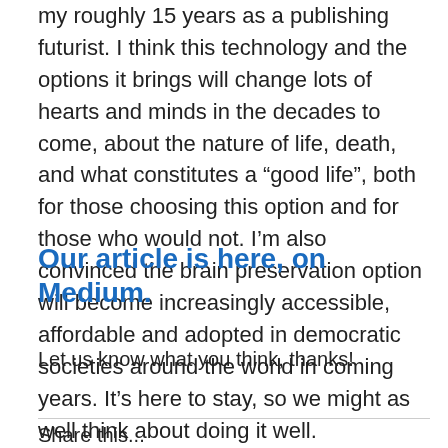my roughly 15 years as a publishing futurist. I think this technology and the options it brings will change lots of hearts and minds in the decades to come, about the nature of life, death, and what constitutes a “good life”, both for those choosing this option and for those who would not. I’m also convinced the brain preservation option will become increasingly accessible, affordable and adopted in democratic societies around the world in coming years. It’s here to stay, so we might as well think about doing it well.
Our article is here, on Medium.
Let us know what you think, thanks!
Share this...